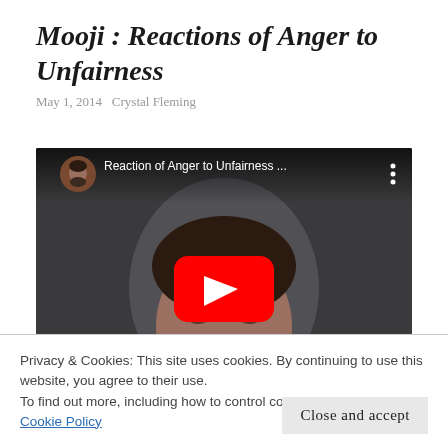Mooji : Reactions of Anger to Unfairness
May 1, 2014   Crystal Fleming
[Figure (screenshot): YouTube video thumbnail showing a bearded man in a teal shirt. Video title bar reads 'Reaction of Anger to Unfairness ...' with a YouTube play button overlay in the center.]
Privacy & Cookies: This site uses cookies. By continuing to use this website, you agree to their use.
To find out more, including how to control cookies, see here:
Cookie Policy
Close and accept